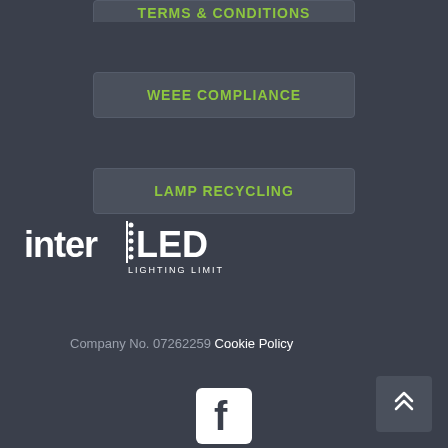TERMS & CONDITIONS
WEEE COMPLIANCE
LAMP RECYCLING
[Figure (logo): interLED Lighting Limited logo in white on dark background]
Company No. 07262259  Cookie Policy
[Figure (other): Facebook icon in white square with rounded corners]
[Figure (other): Scroll to top button with double chevron arrow]